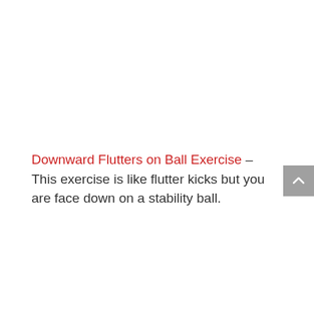Downward Flutters on Ball Exercise – This exercise is like flutter kicks but you are face down on a stability ball.